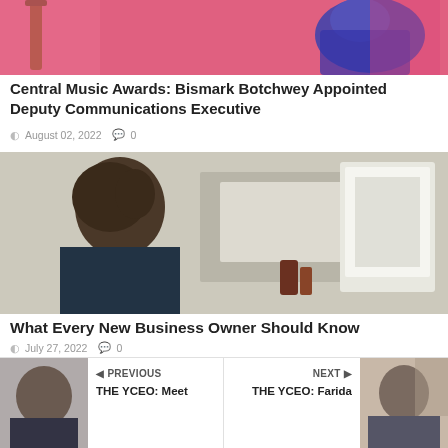[Figure (photo): Person in purple outfit sitting on a chair against a pink background with a wooden stool]
Central Music Awards: Bismark Botchwey Appointed Deputy Communications Executive
August 02, 2022   0
[Figure (photo): Person with curly hair working at a desk with art supplies and a canvas/monitor]
What Every New Business Owner Should Know
July 27, 2022   0
PREVIOUS
THE YCEO: Meet
NEXT
THE YCEO: Farida